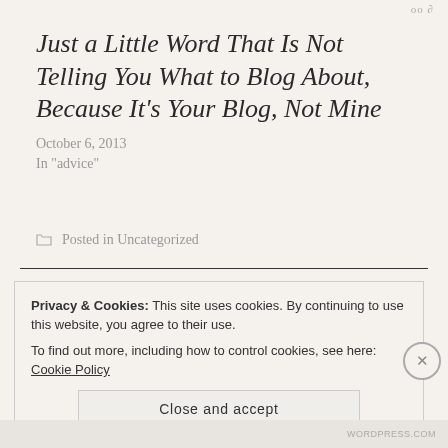oo ∂
Just a Little Word That Is Not Telling You What to Blog About, Because It's Your Blog, Not Mine
October 6, 2013
In "advice"
Posted in Uncategorized
Privacy & Cookies: This site uses cookies. By continuing to use this website, you agree to their use.
To find out more, including how to control cookies, see here: Cookie Policy
Close and accept